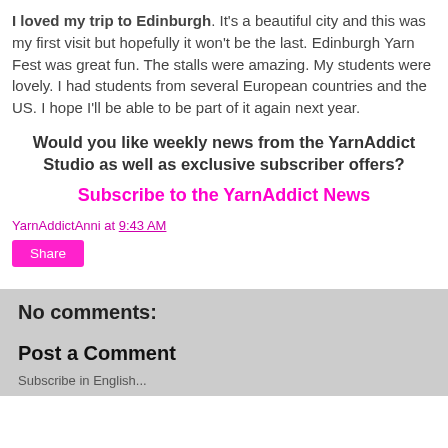I loved my trip to Edinburgh. It's a beautiful city and this was my first visit but hopefully it won't be the last. Edinburgh Yarn Fest was great fun. The stalls were amazing. My students were lovely. I had students from several European countries and the US. I hope I'll be able to be part of it again next year.
Would you like weekly news from the YarnAddict Studio as well as exclusive subscriber offers?
Subscribe to the YarnAddict News
YarnAddictAnni at 9:43 AM
Share
No comments:
Post a Comment
Subscribe in English...